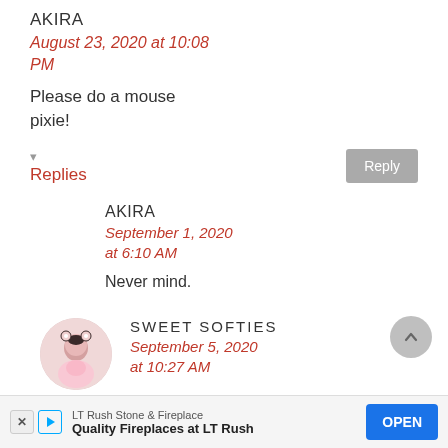AKIRA
August 23, 2020 at 10:08 PM
Please do a mouse pixie!
▾ Replies
AKIRA
September 1, 2020 at 6:10 AM
Never mind.
SWEET SOFTIES
September 5, 2020 at 10:27 AM
LT Rush Stone & Fireplace
Quality Fireplaces at LT Rush